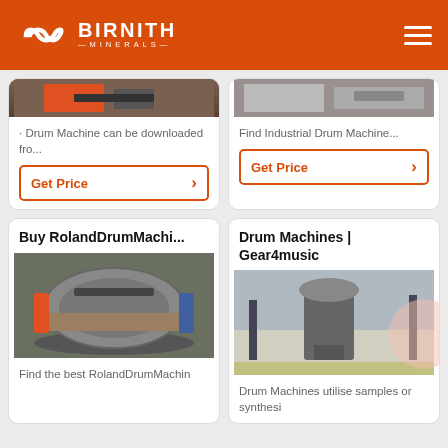BIRNITH MINERALS
· Drum Machine can be downloaded fro...
Find Industrial Drum Machine...
Get Price
Get Price
Buy RolandDrumMachi...
Drum Machines | Gear4music
Find the best RolandDrumMachin
Drum Machines utilise samples or synthesi